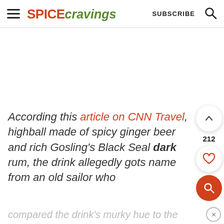SPICE cravings  SUBSCRIBE  🔍
According to this article on CNN Travel, highball made of spicy ginger beer and rich Gosling's Black Seal dark rum, the drink allegedly got its name from an old sailor who compared the drink's murky hue to the